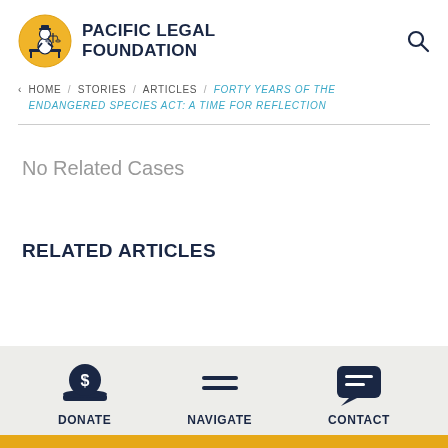[Figure (logo): Pacific Legal Foundation logo: yellow circle with illustration of a figure at a desk with scales of justice, beside bold dark blue uppercase text reading PACIFIC LEGAL FOUNDATION]
< HOME / STORIES / ARTICLES / FORTY YEARS OF THE ENDANGERED SPECIES ACT: A TIME FOR REFLECTION
No Related Cases
RELATED ARTICLES
[Figure (infographic): Footer navigation bar with three icons and labels: DONATE (dollar sign coin icon), NAVIGATE (hamburger menu icon), CONTACT (chat bubble icon)]